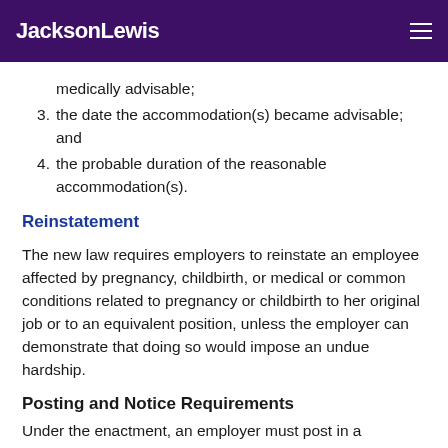JacksonLewis
medically advisable;
3. the date the accommodation(s) became advisable; and
4. the probable duration of the reasonable accommodation(s).
Reinstatement
The new law requires employers to reinstate an employee affected by pregnancy, childbirth, or medical or common conditions related to pregnancy or childbirth to her original job or to an equivalent position, unless the employer can demonstrate that doing so would impose an undue hardship.
Posting and Notice Requirements
Under the enactment, an employer must post in a conspicuous location, and include in any employee handbook that the employer maintains, a notice that will be